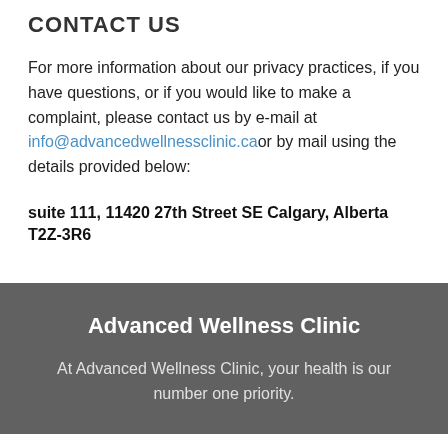CONTACT US
For more information about our privacy practices, if you have questions, or if you would like to make a complaint, please contact us by e-mail at info@advancedwellnessclinic.ca or by mail using the details provided below:
suite 111, 11420 27th Street SE Calgary, Alberta T2Z-3R6
Advanced Wellness Clinic
At Advanced Wellness Clinic, your health is our number one priority.